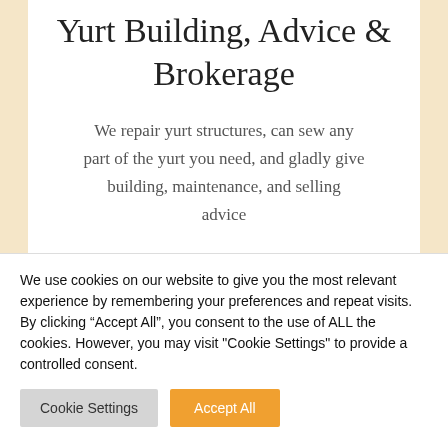Yurt Building, Advice & Brokerage
We repair yurt structures, can sew any part of the yurt you need, and gladly give building, maintenance, and selling advice
We use cookies on our website to give you the most relevant experience by remembering your preferences and repeat visits. By clicking “Accept All”, you consent to the use of ALL the cookies. However, you may visit "Cookie Settings" to provide a controlled consent.